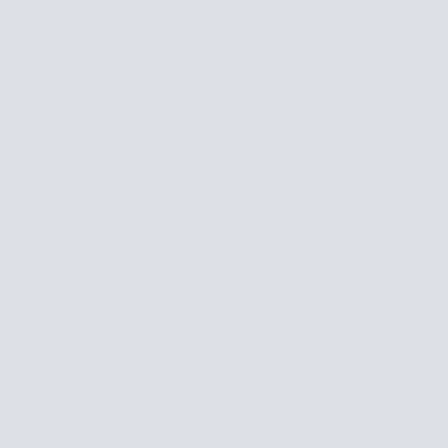culture, but they don't identify themselves as... person who has rediscovered his Indian h... He is not qualified to speak authoritatively... he wasn't raised that way and doesn't hav... learning about it second-hand--including y... If you're trying to learn about Native Amer... want to become a part of it you face the p... and grow up in the culture and prime targ... spirituality is not evangelistic. It is private... have to share with outsiders unless an inc... 'Native American' any more than you can... other cultural identity you would need to b... a Native American spiritual tradition is to b... impossible to do that because you either b... tribe. For those who believe they have the right... grandmother was part Cherokee or mayb... suggest you honor your relatives by not a... traditions that are thousand of year old. P... perform fake "Native American" rituals tha... physically to their tribe in person and re-c... hard work convincing the people there tha... patience you will eventually be accepted,... part of the spiritual tradition you desire. Th... belongs only to the cultural group, and an... some money off of you and/or to take a p...